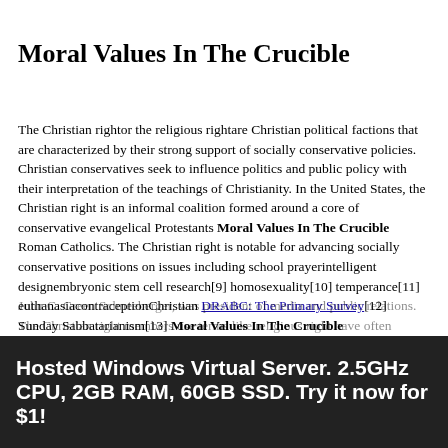Moral Values In The Crucible
The Christian rightor the religious rightare Christian political factions that are characterized by their strong support of socially conservative policies. Christian conservatives seek to influence politics and public policy with their interpretation of the teachings of Christianity. In the United States, the Christian right is an informal coalition formed around a core of conservative evangelical Protestants Moral Values In The Crucible Roman Catholics. The Christian right is notable for advancing socially conservative positions on issues including school prayerintelligent designembryonic stem cell research[9] homosexuality[10] temperance[11] euthanasiacontraceptionChristian DRABC: The Primary Survey[12] Sunday Sabbatarianism[13] Moral Values In The Crucible educationabortion[14] and pornography.
Hosted Windows Virtual Server. 2.5GHz CPU, 2GB RAM, 60GB SSD. Try it now for $1!